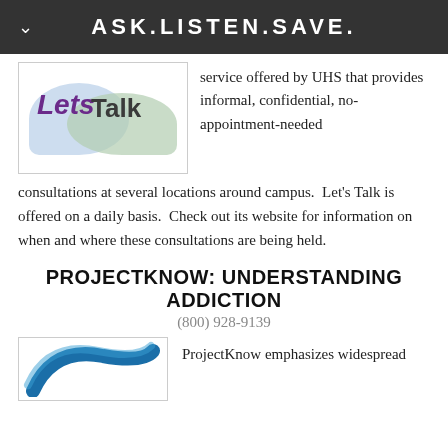ASK.LISTEN.SAVE.
[Figure (logo): Let's Talk logo with two overlapping speech bubbles (blue and green), text reading 'Lets Talk']
service offered by UHS that provides informal, confidential, no-appointment-needed consultations at several locations around campus.  Let's Talk is offered on a daily basis.  Check out its website for information on when and where these consultations are being held.
PROJECTKNOW: UNDERSTANDING ADDICTION
(800) 928-9139
[Figure (logo): ProjectKnow logo with blue arc/swoosh design]
ProjectKnow emphasizes widespread